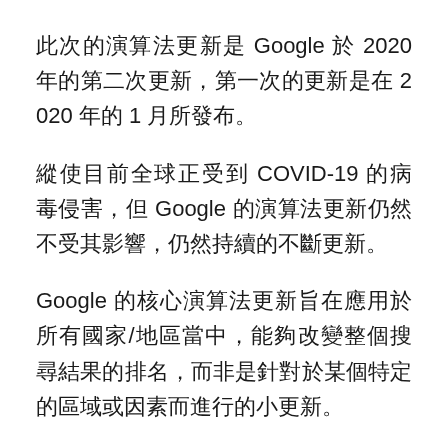此次的演算法更新是 Google 於 2020 年的第二次更新，第一次的更新是在 2020 年的 1 月所發布。
縱使目前全球正受到 COVID-19 的病毒侵害，但 Google 的演算法更新仍然不受其影響，仍然持續的不斷更新。
Google 的核心演算法更新旨在應用於所有國家/地區當中，能夠改變整個搜尋結果的排名，而非是針對於某個特定的區域或因素而進行的小更新。
當 Google 的核心演算法更新後，所有國家的排名都會因此更新而受到不同程度的影響，有的網站排名可能會因此上升，有的網站排名則會因此